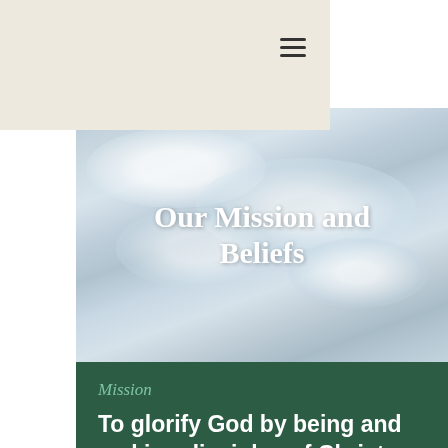Mount Hermon Zion Presbyterian Church — navigation header with logo and menu
[Figure (logo): Mount Hermon logo with green trees and blue river, text reads MOUNT HERMON Zion Presbyterian Church]
[Figure (photo): Sky with clouds background image for hero section]
Our Mission and Beliefs
Mission
To glorify God by being and making disciples of Christ Jesus